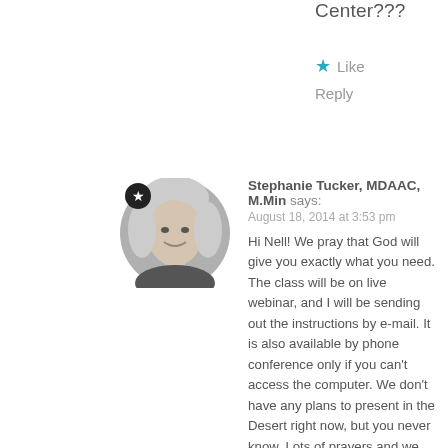Center???
★ Like
Reply
[Figure (photo): Circular black and white avatar photo of a woman with a star badge overlay]
Stephanie Tucker, MDAAC, M.Min says:
August 18, 2014 at 3:53 pm
Hi Nell! We pray that God will give you exactly what you need. The class will be on live webinar, and I will be sending out the instructions by e-mail. It is also available by phone conference only if you can't access the computer. We don't have any plans to present in the Desert right now, but you never know. Lots of prayers and we look forward to you joining us!